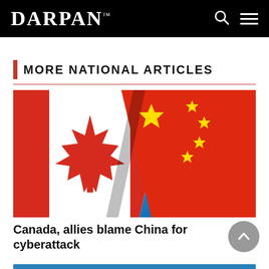DARPAN™
MORE NATIONAL ARTICLES
[Figure (photo): Canadian flag and Chinese flag side by side against a blue background]
Canada, allies blame China for cyberattack